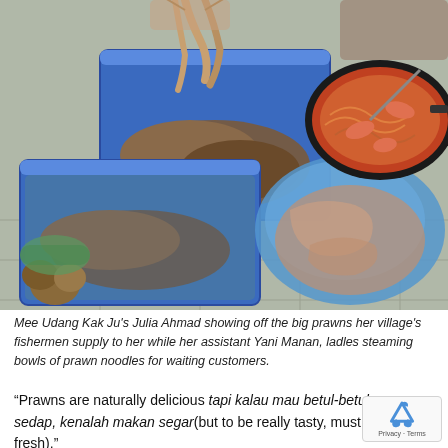[Figure (photo): A food stall scene showing large prawns/shrimp in blue plastic bins and a blue plastic bag, with a pan of cooked noodles with prawns in the top right, and eggs visible on the left. A person is partially visible holding large prawns overhead.]
Mee Udang Kak Ju's Julia Ahmad showing off the big prawns her village's fishermen supply to her while her assistant Yani Manan, ladles steaming bowls of prawn noodles for waiting customers.
“Prawns are naturally delicious tapi kalau mau betul-betul sedap, kenalah makan segar(but to be really tasty, must eat fresh).”